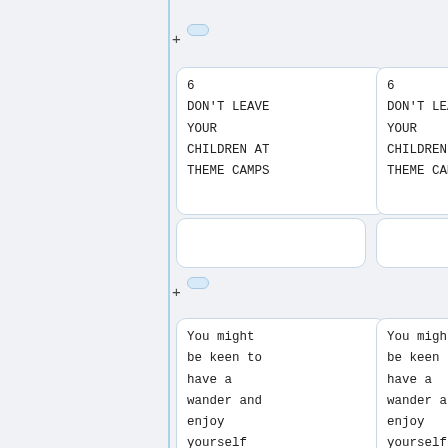<!--T:20-->
6
DON'T LEAVE YOUR CHILDREN AT THEME CAMPS
6
DON'T LEAVE YOUR CHILDREN AT THEME CAMPS
<!--T:21-->
You might be keen to have a wander and enjoy yourself but leaving children in the care of Theme Camps
You might be keen to have a wander and enjoy yourself but leaving children in the care of Theme Camps